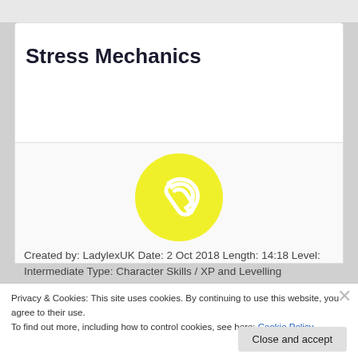Stress Mechanics
[Figure (illustration): Yellow circle with a white paperclip icon in the center]
Created by: LadylexUK Date: 2 Oct 2018 Length: 14:18 Level: Intermediate Type: Character Skills / XP and Levelling Description: How to add a stress
Privacy & Cookies: This site uses cookies. By continuing to use this website, you agree to their use.
To find out more, including how to control cookies, see here: Cookie Policy
Close and accept